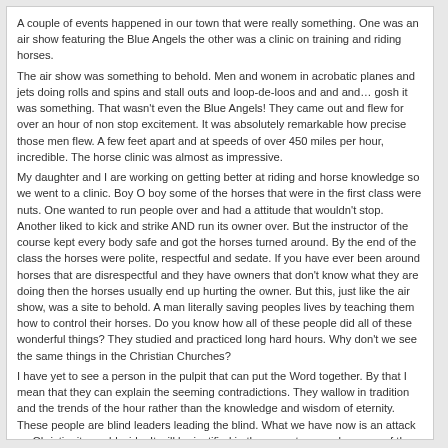A couple of events happened in our town that were really something. One was an air show featuring the Blue Angels the other was a clinic on training and riding horses.
The air show was something to behold. Men and wonem in acrobatic planes and jets doing rolls and spins and stall outs and loop-de-loos and and and… gosh it was something. That wasn't even the Blue Angels! They came out and flew for over an hour of non stop excitement. It was absolutely remarkable how precise those men flew. A few feet apart and at speeds of over 450 miles per hour, incredible. The horse clinic was almost as impressive.
My daughter and I are working on getting better at riding and horse knowledge so we went to a clinic. Boy O boy some of the horses that were in the first class were nuts. One wanted to run people over and had a attitude that wouldn't stop. Another liked to kick and strike AND run its owner over. But the instructor of the course kept every body safe and got the horses turned around. By the end of the class the horses were polite, respectful and sedate. If you have ever been around horses that are disrespectful and they have owners that don't know what they are doing then the horses usually end up hurting the owner. But this, just like the air show, was a site to behold. A man literally saving peoples lives by teaching them how to control their horses. Do you know how all of these people did all of these wonderful things? They studied and practiced long hard hours. Why don't we see the same things in the Christian Churches?
I have yet to see a person in the pulpit that can put the Word together. By that I mean that they can explain the seeming contradictions. They wallow in tradition and the trends of the hour rather than the knowledge and wisdom of eternity. These people are blind leaders leading the blind. What we have now is an attack on Christianity world wide. It will be justified in the years to come because of the